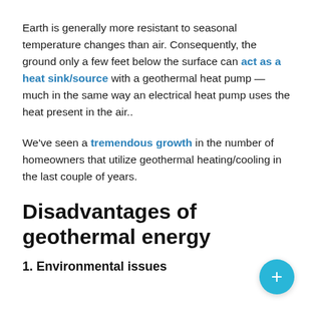Earth is generally more resistant to seasonal temperature changes than air. Consequently, the ground only a few feet below the surface can act as a heat sink/source with a geothermal heat pump — much in the same way an electrical heat pump uses the heat present in the air..
We've seen a tremendous growth in the number of homeowners that utilize geothermal heating/cooling in the last couple of years.
Disadvantages of geothermal energy
1. Environmental issues